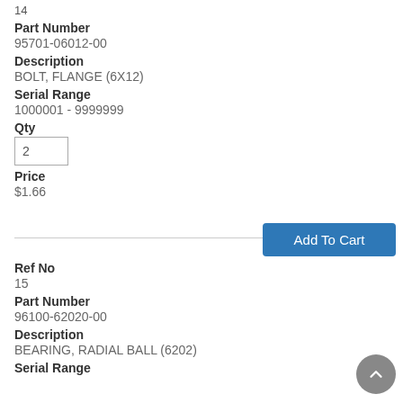14
Part Number
95701-06012-00
Description
BOLT, FLANGE (6X12)
Serial Range
1000001 - 9999999
Qty
2
Price
$1.66
Add To Cart
Ref No
15
Part Number
96100-62020-00
Description
BEARING, RADIAL BALL (6202)
Serial Range